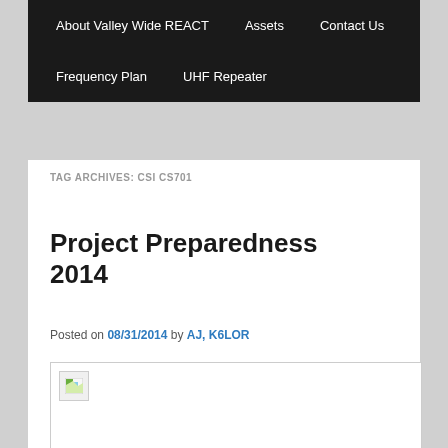About Valley Wide REACT | Assets | Contact Us | Frequency Plan | UHF Repeater
TAG ARCHIVES: CSI CS701
Project Preparedness 2014
Posted on 08/31/2014 by AJ, K6LOR
[Figure (photo): Broken/missing image placeholder within a bordered box]